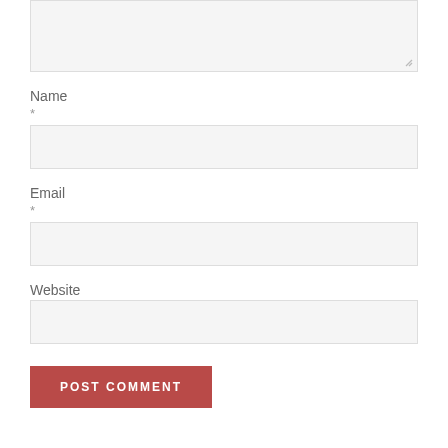[Figure (screenshot): Textarea input box (top portion visible, cut off at top of page), with a resize handle indicator at bottom-right corner]
Name
*
[Figure (screenshot): Empty text input field for Name]
Email
*
[Figure (screenshot): Empty text input field for Email]
Website
[Figure (screenshot): Empty text input field for Website]
[Figure (screenshot): POST COMMENT submit button in dark red/crimson color]